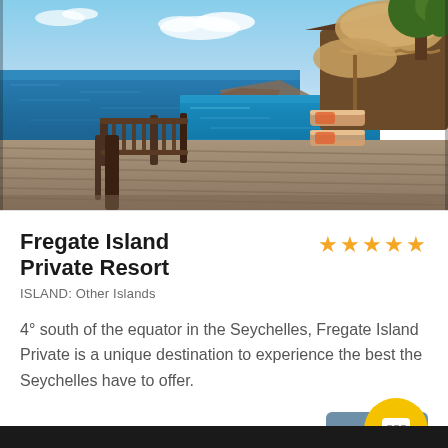[Figure (photo): Luxury resort infinity pool with wooden deck and sun loungers overlooking the ocean in the Seychelles, with thatched umbrellas and tropical trees]
Fregate Island Private Resort
★★★★★
ISLAND: Other Islands
4° south of the equator in the Seychelles, Fregate Island Private is a unique destination to experience the best the Seychelles have to offer.